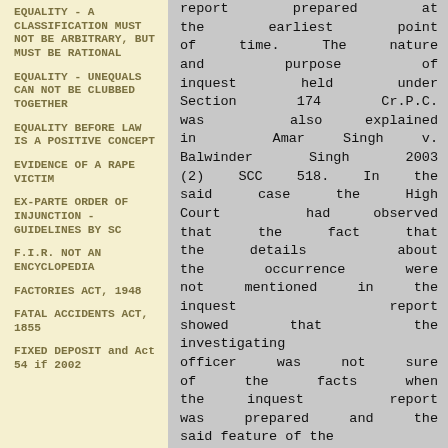EQUALITY - A CLASSIFICATION MUST NOT BE ARBITRARY, BUT MUST BE RATIONAL
EQUALITY - UNEQUALS CAN NOT BE CLUBBED TOGETHER
EQUALITY BEFORE LAW IS A POSITIVE CONCEPT
EVIDENCE OF A RAPE VICTIM
EX-PARTE ORDER OF INJUNCTION - GUIDELINES BY SC
F.I.R. NOT AN ENCYCLOPEDIA
FACTORIES ACT, 1948
FATAL ACCIDENTS ACT, 1855
FIXED DEPOSIT and Act 54 if 2002
report prepared at the earliest point of time. The nature and purpose of inquest held under Section 174 Cr.P.C. was also explained in Amar Singh v. Balwinder Singh 2003 (2) SCC 518. In the said case the High Court had observed that the fact that the details about the occurrence were not mentioned in the inquest report showed that the investigating officer was not sure of the facts when the inquest report was prepared and the said feature of the